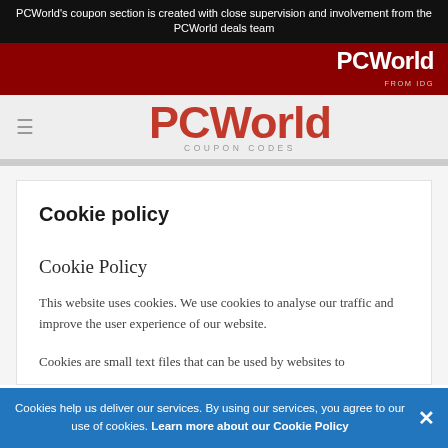PCWorld's coupon section is created with close supervision and involvement from the PCWorld deals team
[Figure (logo): PCWorld logo in white on dark red navigation bar]
[Figure (logo): PCWorld Coupon Codes logo in red on light gray header]
Cookie policy
Cookie Policy
This website uses cookies. We use cookies to analyse our traffic and improve the user experience of our website.
Cookies are small text files that can be used by websites to
Cookies help us deliver our services. By using our services, you agree to our use of cookies. Learn more about our Cookie Policy